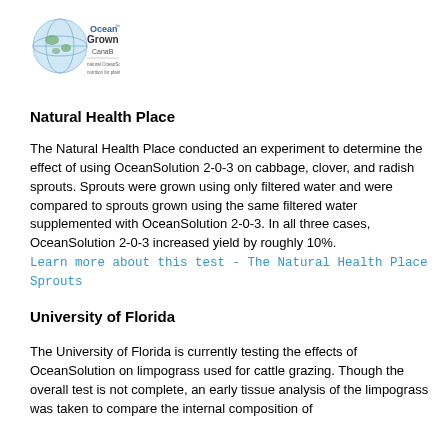[Figure (logo): OceanGrown CanaB logo — circular globe graphic with 'Ocean Grown' text and tagline]
Natural Health Place
The Natural Health Place conducted an experiment to determine the effect of using OceanSolution 2-0-3 on cabbage, clover, and radish sprouts. Sprouts were grown using only filtered water and were compared to sprouts grown using the same filtered water supplemented with OceanSolution 2-0-3. In all three cases, OceanSolution 2-0-3 increased yield by roughly 10%. Learn more about this test - The Natural Health Place Sprouts
University of Florida
The University of Florida is currently testing the effects of OceanSolution on limpograss used for cattle grazing. Though the overall test is not complete, an early tissue analysis of the limpograss was taken to compare the internal composition of